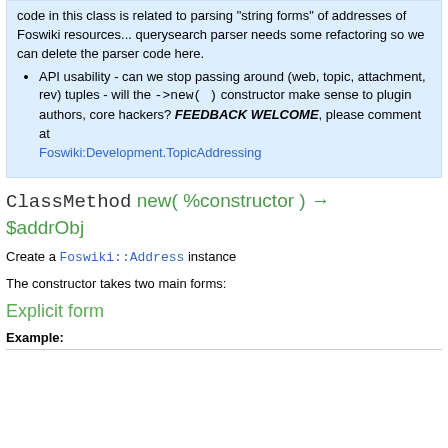code in this class is related to parsing "string forms" of addresses of Foswiki resources... querysearch parser needs some refactoring so we can delete the parser code here.
API usability - can we stop passing around (web, topic, attachment, rev) tuples - will the ->new( ) constructor make sense to plugin authors, core hackers? FEEDBACK WELCOME, please comment at Foswiki:Development.TopicAddressing
ClassMethod new( %constructor ) → $addrObj
Create a Foswiki::Address instance
The constructor takes two main forms:
Explicit form
Example: